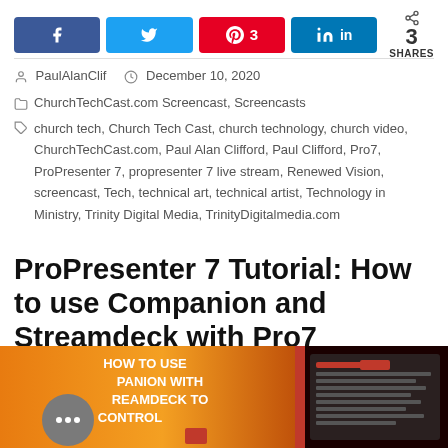[Figure (infographic): Social share buttons: Facebook, Twitter, Pinterest (3), LinkedIn, and share count showing 3 SHARES]
PaulAlanClif   December 10, 2020
ChurchTechCast.com Screencast, Screencasts
church tech, Church Tech Cast, church technology, church video, ChurchTechCast.com, Paul Alan Clifford, Paul Clifford, Pro7, ProPresenter 7, propresenter 7 live stream, Renewed Vision, screencast, Tech, technical art, technical artist, Technology in Ministry, Trinity Digital Media, TrinityDigitalmedia.com
ProPresenter 7 Tutorial: How to use Companion and Streamdeck with Pro7
[Figure (screenshot): Thumbnail image showing 'HOW TO USE COMPANION WITH STREAMDECK TO CONTROL' text on orange background, alongside a dark red UI screenshot]